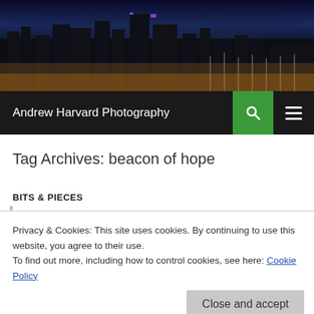[Figure (photo): City skyline at night with colorful lights and marina in foreground]
Andrew Harvard Photography
Tag Archives: beacon of hope
BITS & PIECES
HAPPY BIRTHDAY... (post title, partially visible)
Privacy & Cookies: This site uses cookies. By continuing to use this website, you agree to their use.
To find out more, including how to control cookies, see here: Cookie Policy
I have just spent the last three hours preparing your